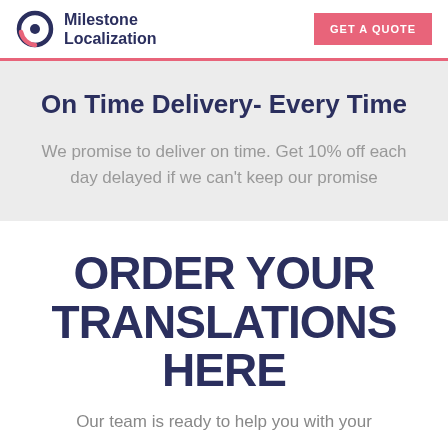Milestone Localization | GET A QUOTE
On Time Delivery- Every Time
We promise to deliver on time. Get 10% off each day delayed if we can't keep our promise
ORDER YOUR TRANSLATIONS HERE
Our team is ready to help you with your